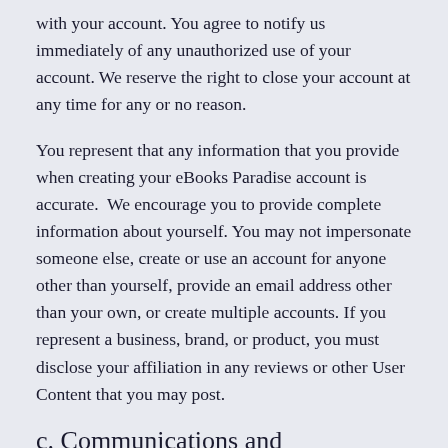with your account. You agree to notify us immediately of any unauthorized use of your account. We reserve the right to close your account at any time for any or no reason.
You represent that any information that you provide when creating your eBooks Paradise account is accurate.  We encourage you to provide complete information about yourself. You may not impersonate someone else, create or use an account for anyone other than yourself, provide an email address other than your own, or create multiple accounts. If you represent a business, brand, or product, you must disclose your affiliation in any reviews or other User Content that you may post.
c. Communications and Notifications
By creating an account, you agree to receive certain communications in connection with our Products. You will receive certain mandatory communications, for example notifications informing you of important updates to our Terms or Privacy Policy, or security issues with your account. You will